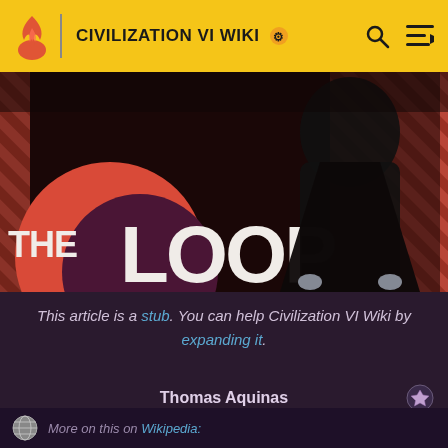CIVILIZATION VI WIKI
[Figure (screenshot): The Loop banner image with dark cloaked figure, coral/salmon diagonal stripe background, and The Loop logo with purple circle]
This article is a stub. You can help Civilization VI Wiki by expanding it.
| Thomas Aquinas |  |
| --- | --- |
| Base Stats |  |
| Type | Great Prophet |
More on this on Wikipedia: